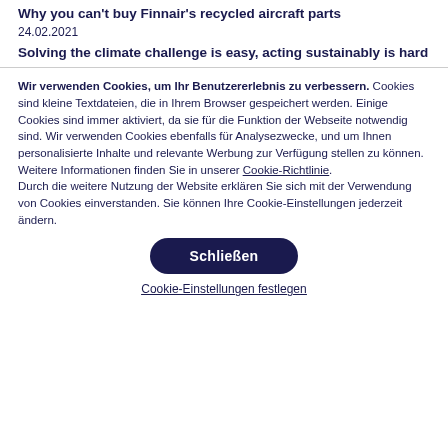Why you can't buy Finnair's recycled aircraft parts
24.02.2021
Solving the climate challenge is easy, acting sustainably is hard
Wir verwenden Cookies, um Ihr Benutzererlebnis zu verbessern. Cookies sind kleine Textdateien, die in Ihrem Browser gespeichert werden. Einige Cookies sind immer aktiviert, da sie für die Funktion der Webseite notwendig sind. Wir verwenden Cookies ebenfalls für Analysezwecke, und um Ihnen personalisierte Inhalte und relevante Werbung zur Verfügung stellen zu können. Weitere Informationen finden Sie in unserer Cookie-Richtlinie. Durch die weitere Nutzung der Website erklären Sie sich mit der Verwendung von Cookies einverstanden. Sie können Ihre Cookie-Einstellungen jederzeit ändern.
Schließen
Cookie-Einstellungen festlegen